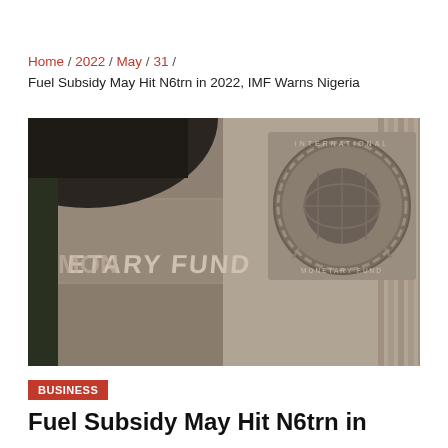Home / 2022 / May / 31 /
Fuel Subsidy May Hit N6trn in 2022, IMF Warns Nigeria
[Figure (photo): Exterior photo of the International Monetary Fund (IMF) headquarters building showing the IMF emblem/seal mounted on a stone wall, with text reading INTERNATIONAL MONETARY FUND visible.]
BUSINESS
Fuel Subsidy May Hit N6trn in